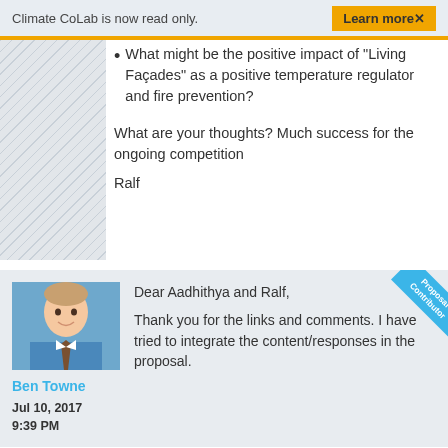Climate CoLab is now read only.  Learn more ×
What might be the positive impact of "Living Façades" as a positive temperature regulator and fire prevention?
What are your thoughts? Much success for the ongoing competition
Ralf
Dear Aadhithya and Ralf,
Thank you for the links and comments.  I have tried to integrate the content/responses in the proposal.
Ben Towne
Jul 10, 2017